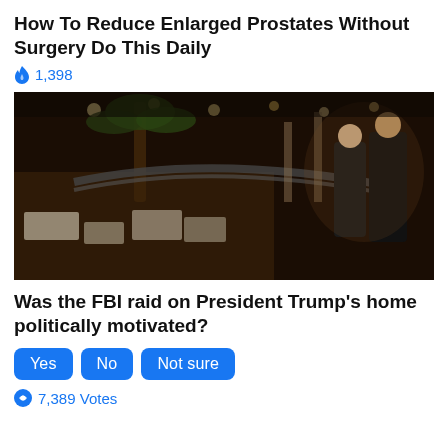How To Reduce Enlarged Prostates Without Surgery Do This Daily
🔥 1,398
[Figure (photo): Interior of a luxury resort or club (Mar-a-Lago) with ornate chandeliers, palm trees, white furniture, and two men in dark suits standing on a balcony overlooking the grand hall.]
Was the FBI raid on President Trump's home politically motivated?
Yes   No   Not sure
🔁 7,389 Votes